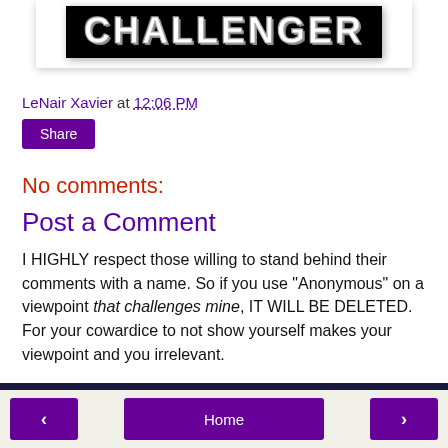[Figure (logo): CHALLENGER logo text in white on black background with shadow effect]
LeNair Xavier at 12:06 PM
Share
No comments:
Post a Comment
I HIGHLY respect those willing to stand behind their comments with a name. So if you use "Anonymous" on a viewpoint that challenges mine, IT WILL BE DELETED. For your cowardice to not show yourself makes your viewpoint and you irrelevant.
< Home >